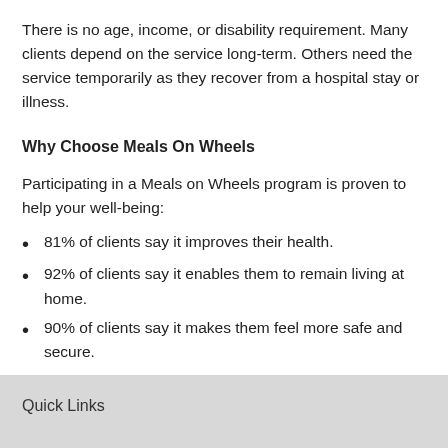There is no age, income, or disability requirement. Many clients depend on the service long-term. Others need the service temporarily as they recover from a hospital stay or illness.
Why Choose Meals On Wheels
Participating in a Meals on Wheels program is proven to help your well-being:
81% of clients say it improves their health.
92% of clients say it enables them to remain living at home.
90% of clients say it makes them feel more safe and secure.
Meals on Wheels clients report fewer falls.
Quick Links